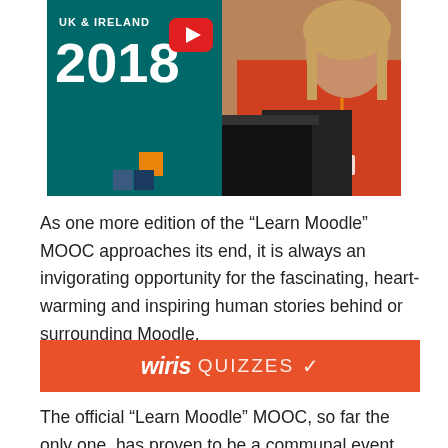[Figure (photo): Video thumbnail showing a conference event 'UK & Ireland 2018' with teal background and YouTube play button overlay. A person in a red/orange top stands at a podium on the right side. Decorative colored squares visible in lower left of thumbnail.]
As one more edition of the “Learn Moodle” MOOC approaches its end, it is always an invigorating opportunity for the fascinating, heart-warming and inspiring human stories behind or surrounding Moodle.
[Figure (logo): Wiris Quizzes banner on orange/red background. Bold italic white text 'wiris' followed by lighter white text 'QUIZZES' and a checkmark.]
The official “Learn Moodle” MOOC, so far the only one, has proven to be a communal event, more like the online version of the MoodleMoots around the world. It was clear since week 1, when teacher and Moodle HQ’s Community Educator